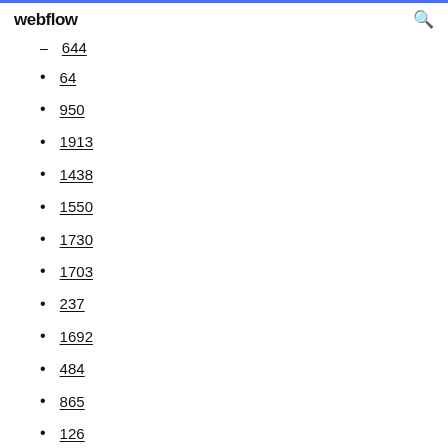webflow
644
64
950
1913
1438
1550
1730
1703
237
1692
484
865
126